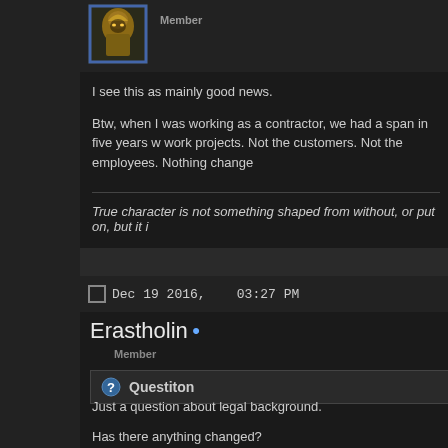[Figure (photo): User avatar: fantasy character with golden helmet/armor]
Member
I see this as mainly good news.

Btw, when I was working as a contractor, we had a span in five years w... work projects. Not the customers. Not the employees. Nothing change...
True character is not something shaped from without, or put on, but it i...
Dec 19 2016,    03:27 PM
Erastholin •
Member
Questiton
Just a question about legal background.

Has there anything changed?

Licence is owned by WB and therefor could have been inherited by Tu... What about changes on that and future agreements and contracts re...